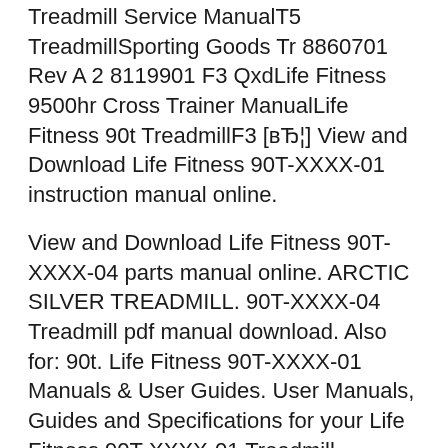Treadmill Service Manual T5 Treadmill Sporting Goods Tr 8860701 Rev A 2 8119901 F3 QxdLife Fitness 9500hr Cross Trainer ManualLife Fitness 90t TreadmillF3 [вЂ¦] View and Download Life Fitness 90T-XXXX-01 instruction manual online.
View and Download Life Fitness 90T-XXXX-04 parts manual online. ARCTIC SILVER TREADMILL. 90T-XXXX-04 Treadmill pdf manual download. Also for: 90t. Life Fitness 90T-XXXX-01 Manuals & User Guides. User Manuals, Guides and Specifications for your Life Fitness 90T-XXXX-01 Treadmill. Database contains 1 Life Fitness 90T-XXXX-01 Manuals (available for free online viewing or downloading in PDF): Parts manual .